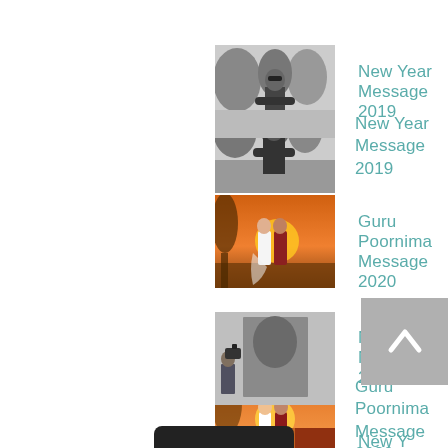[Figure (photo): Black and white photo of a person standing with arms crossed outdoors]
New Year Message 2019
[Figure (photo): Orange sunset photo with two people standing, one in white and one in red]
Guru Poornima Message 2020
[Figure (photo): Person photographing a large portrait on a wall in a gallery]
Mahasamadhi Message 2020
[Figure (photo): Partial image, bottom of page, orange/dark tones]
New Year ... age 2020